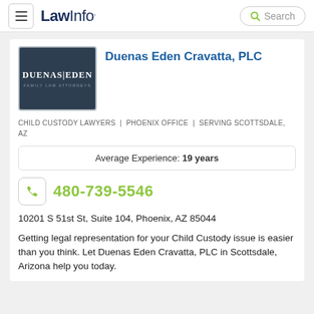LawInfo. Search
[Figure (logo): Duenas Eden law firm logo — dark navy background with 'DUENAS|EDEN' text and 'FAMILY LAW ATTORNEYS' subtitle]
Duenas Eden Cravatta, PLC
CHILD CUSTODY LAWYERS | PHOENIX OFFICE | SERVING SCOTTSDALE, AZ
Average Experience: 19 years
480-739-5546
10201 S 51st St, Suite 104, Phoenix, AZ 85044
Getting legal representation for your Child Custody issue is easier than you think. Let Duenas Eden Cravatta, PLC in Scottsdale, Arizona help you today.